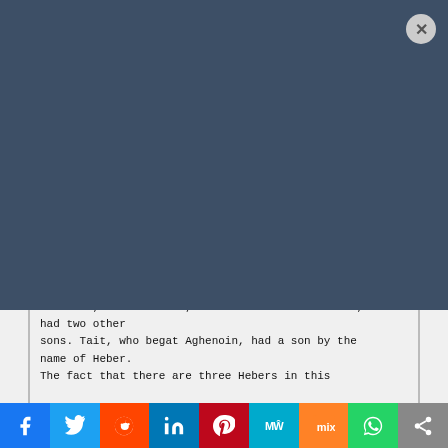Email
Subscribe to our E-News
Subscribing I accept the privacy rules of this site
First, you will notice that we have italicized some of these names, two of which are Heber, and one Tait. In giving this genealogy we have given the direct line from father through only one son, but some of these men were the fathers of more than one son. Sru, for instance, the father of Heber Scot, had two other sons. Tait, who begat Aghenoin, had a son by the name of Heber. The fact that there are three Hebers in this